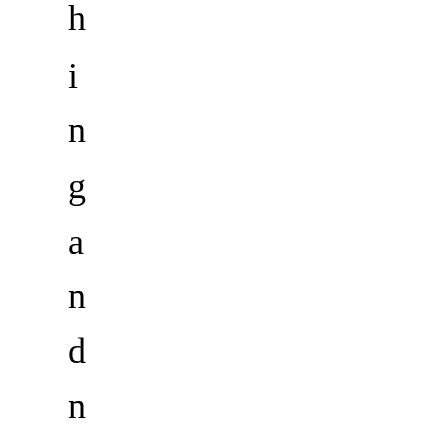h i n g a n d n o s h a r i n g o f